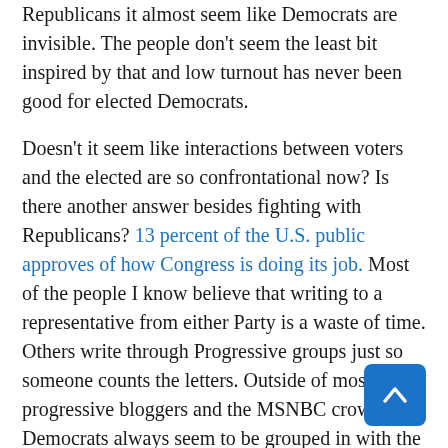Republicans it almost seem like Democrats are invisible. The people don't seem the least bit inspired by that and low turnout has never been good for elected Democrats.
Doesn't it seem like interactions between voters and the elected are so confrontational now? Is there another answer besides fighting with Republicans? 13 percent of the U.S. public approves of how Congress is doing its job. Most of the people I know believe that writing to a representative from either Party is a waste of time. Others write through Progressive groups just so someone counts the letters. Outside of most progressive bloggers and the MSNBC crowd Democrats always seem to be grouped in with the troublemakers.
So organizing to decrease the distrust, a day out in the sun sharing the Party platform with others could help change the focus for at least a few. It could be so friendly that you could even call in advance, try to get an